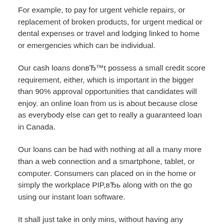For example, to pay for urgent vehicle repairs, or replacement of broken products, for urgent medical or dental expenses or travel and lodging linked to home or emergencies which can be individual.
Our cash loans donвЂ™t possess a small credit score requirement, either, which is important in the bigger than 90% approval opportunities that candidates will enjoy. an online loan from us is about because close as everybody else can get to really a guaranteed loan in Canada.
Our loans can be had with nothing at all a many more than a web connection and a smartphone, tablet, or computer. Consumers can placed on in the home or simply the workplace PIP,вЂь along with on the go using our instant loan software.
It shall just take in only mins, without having any papers to submit (without any application costs). You can expect an